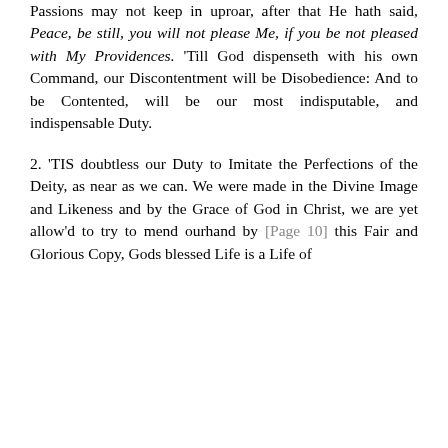Passions may not keep in uproar, after that He hath said, Peace, be still, you will not please Me, if you be not pleased with My Providences. 'Till God dispenseth with his own Command, our Discontentment will be Disobedience: And to be Contented, will be our most indisputable, and indispensable Duty.
2. 'TIS doubtless our Duty to Imitate the Perfections of the Deity, as near as we can. We were made in the Divine Image and Likeness and by the Grace of God in Christ, we are yet allow'd to try to mend ourhand by [Page 10] this Fair and Glorious Copy, Gods blessed Life is a Life of